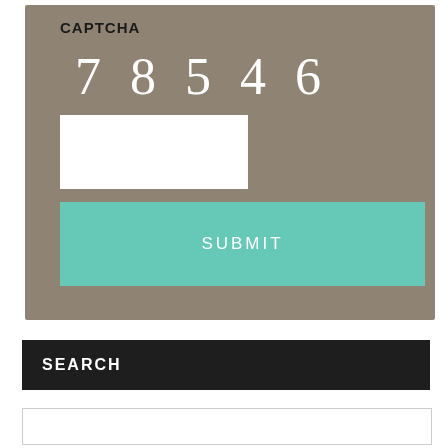CAPTCHA
7 8 5 4 6
[Figure (screenshot): White input text field for CAPTCHA entry]
SUBMIT
SEARCH
[Figure (screenshot): White search input text field]